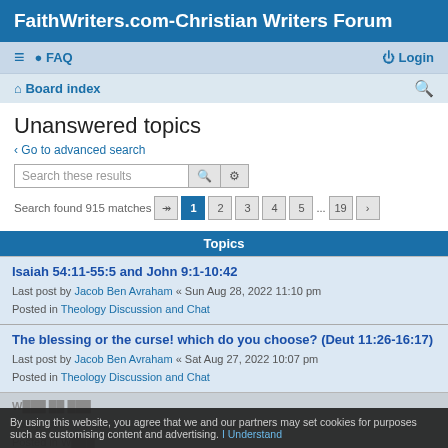FaithWriters.com-Christian Writers Forum
≡  FAQ    Login
Board index
Unanswered topics
< Go to advanced search
Search these results
Search found 915 matches  1 2 3 4 5 ... 19 >
Topics
Isaiah 54:11-55:5 and John 9:1-10:42
Last post by Jacob Ben Avraham « Sun Aug 28, 2022 11:10 pm
Posted in Theology Discussion and Chat
The blessing or the curse! which do you choose? (Deut 11:26-16:17)
Last post by Jacob Ben Avraham « Sat Aug 27, 2022 10:07 pm
Posted in Theology Discussion and Chat
Last post by RedBaron « Thu Aug 25, 2022 12:37 pm
Posted in W...
By using this website, you agree that we and our partners may set cookies for purposes such as customising content and advertising. I Understand